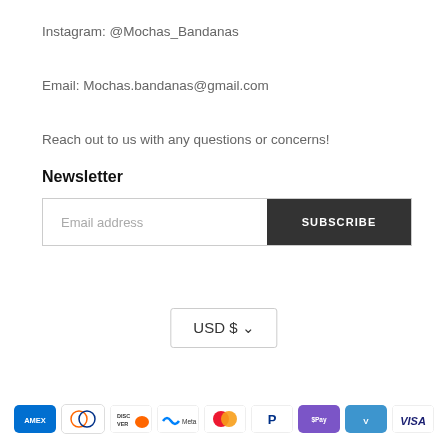Instagram: @Mochas_Bandanas
Email: Mochas.bandanas@gmail.com
Reach out to us with any questions or concerns!
Newsletter
[Figure (other): Email subscription input box with placeholder 'Email address' and a dark SUBSCRIBE button]
[Figure (other): Currency selector dropdown showing USD $]
[Figure (other): Payment method icons: American Express, Diners Club, Discover, Meta Pay, Mastercard, PayPal, Shop Pay, Venmo, Visa]